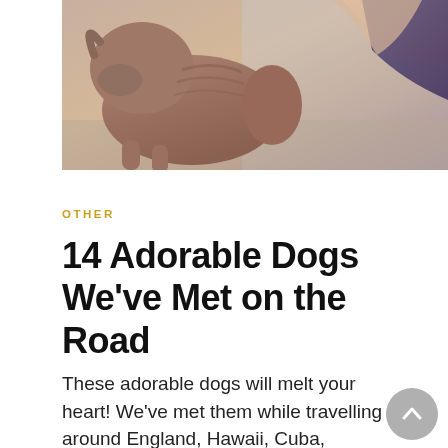[Figure (photo): Close-up photo of a brown/tan dog crouching, with a person's arm visible in the background wearing a dark top]
OTHER
14 Adorable Dogs We've Met on the Road
These adorable dogs will melt your heart! We've met them while travelling around England, Hawaii, Cuba, Thailand and Vietnam and look forward to meeting even more furry friends as we continue to travel the world. The East Anglia Beach Babe We met this gorgeous furry friend on Brancaster beach on the beautiful